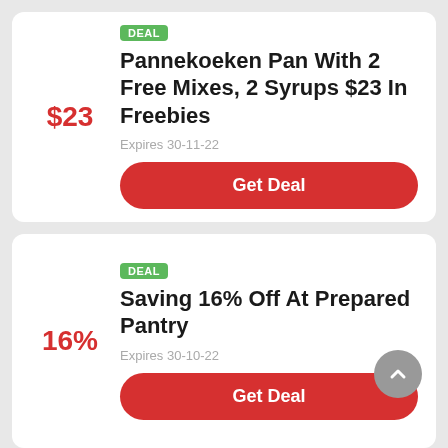DEAL
Pannekoeken Pan With 2 Free Mixes, 2 Syrups $23 In Freebies
$23
Expires 30-11-22
Get Deal
DEAL
Saving 16% Off At Prepared Pantry
16%
Expires 30-10-22
Get Deal